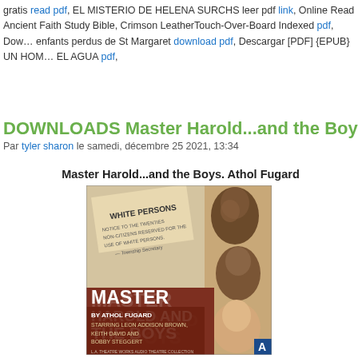gratis read pdf, EL MISTERIO DE HELENA SURCHS leer pdf link, Online Read Ancient Faith Study Bible, Crimson LeatherTouch-Over-Board Indexed pdf, Download enfants perdus de St Margaret download pdf, Descargar [PDF] {EPUB} UN HOM... EL AGUA pdf,
DOWNLOADS Master Harold...and the Boys...
Par tyler sharon le samedi, décembre 25 2021, 13:34
Master Harold...and the Boys. Athol Fugard
[Figure (photo): Book cover of Master Harold...and the Boys by Athol Fugard, showing three faces and a sign reading WHITE PERSONS, with bold white text MASTER HAROLD AND THE BOYS, starring Leon Addison Brown, Keith David and Bobby Steggert]